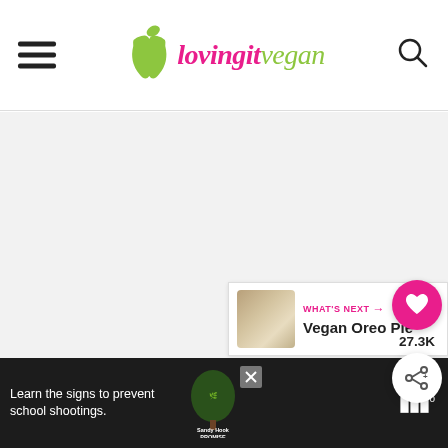loving it vegan
[Figure (screenshot): Large light gray content area, the main page body placeholder]
[Figure (infographic): Social sidebar with pink heart button showing 27.3K saves and a share button]
[Figure (screenshot): What's Next panel showing Vegan Oreo Pie with thumbnail]
[Figure (screenshot): Ad banner: Learn the signs to prevent school shootings - Sandy Hook Promise]